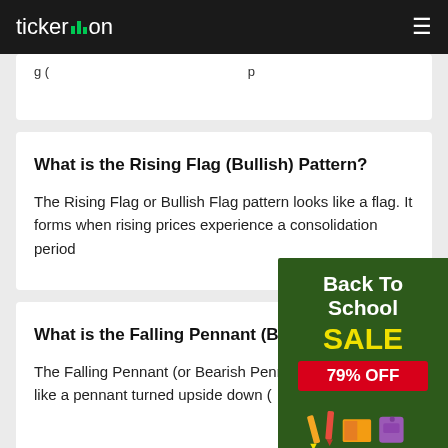ticker.on
(truncated text visible at top of page)
What is the Rising Flag (Bullish) Pattern?
The Rising Flag or Bullish Flag pattern looks like a flag. It forms when rising prices experience a consolidation period
What is the Falling Pennant (Bearish) P...
The Falling Pennant (or Bearish Pennant) looks like a pennant turned upside down (points up)
[Figure (infographic): Back To School SALE 79% OFF advertisement banner with school supplies illustration on green background]